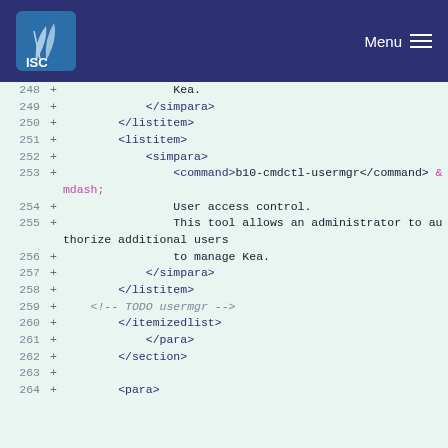ISC — Menu
[Figure (screenshot): Code diff view showing XML lines 248–264 with green background, line numbers, plus signs, and syntax-highlighted XML tags]
248 + Kea.
249 + </simpara>
250 + </listitem>
251 + <listitem>
252 + <simpara>
253 + <command>b10-cmdctl-usermgr</command> &mdash;
254 + User access control.
255 + This tool allows an administrator to authorize additional users
256 + to manage Kea.
257 + </simpara>
258 + </listitem>
259 + <!-- TODO usermgr -->
260 + </itemizedlist>
261 + </para>
262 + </section>
263 +
264 + <para>